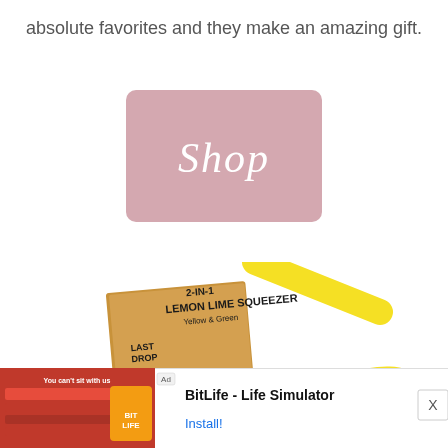absolute favorites and they make an amazing gift.
[Figure (illustration): Pink rounded rectangle button with cursive white text 'Shop']
[Figure (photo): Last Drop brand Lemon Lime Squeezer product in kraft box with yellow citrus squeezer tools visible]
[Figure (other): Advertisement banner for BitLife - Life Simulator app with red background game imagery on left and app name with Install button on right, X close button]